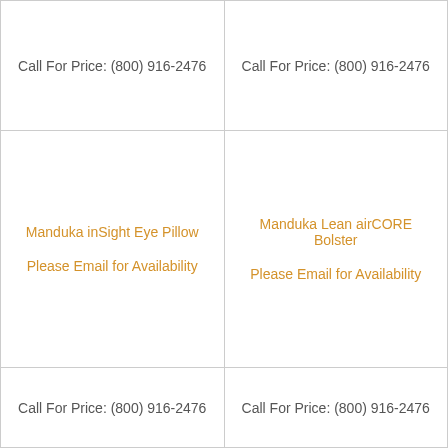Call For Price: (800) 916-2476
Call For Price: (800) 916-2476
Manduka inSight Eye Pillow
Please Email for Availability
Call For Price: (800) 916-2476
Manduka Lean airCORE Bolster
Please Email for Availability
Call For Price: (800) 916-2476